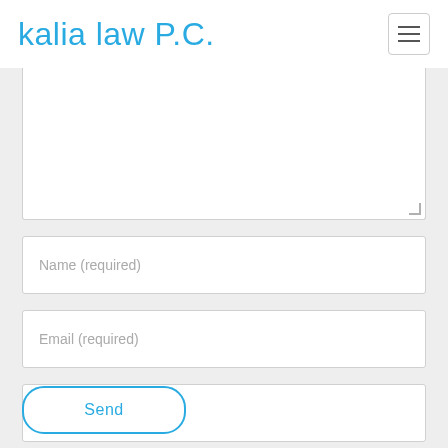kalia law P.C.
[Figure (screenshot): Contact form with textarea (partially visible at top), Name (required) field, Email (required) field, Website field, and Send button]
Name (required)
Email (required)
Website
Send